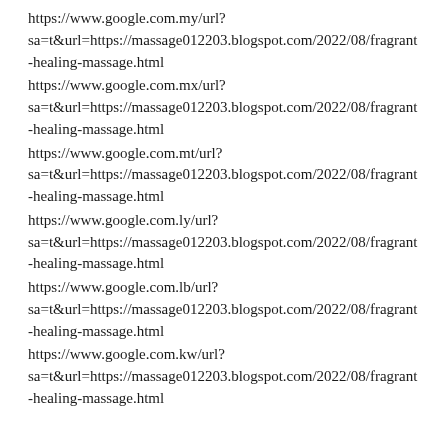https://www.google.com.my/url?sa=t&url=https://massage012203.blogspot.com/2022/08/fragrant-healing-massage.html
https://www.google.com.mx/url?sa=t&url=https://massage012203.blogspot.com/2022/08/fragrant-healing-massage.html
https://www.google.com.mt/url?sa=t&url=https://massage012203.blogspot.com/2022/08/fragrant-healing-massage.html
https://www.google.com.ly/url?sa=t&url=https://massage012203.blogspot.com/2022/08/fragrant-healing-massage.html
https://www.google.com.lb/url?sa=t&url=https://massage012203.blogspot.com/2022/08/fragrant-healing-massage.html
https://www.google.com.kw/url?sa=t&url=https://massage012203.blogspot.com/2022/08/fragrant-healing-massage.html